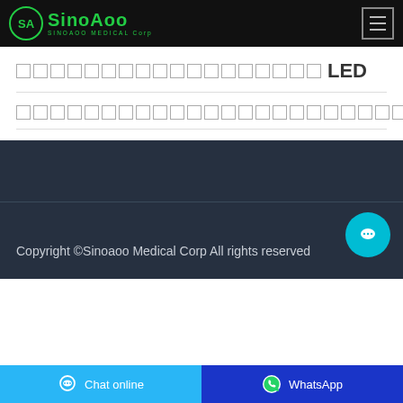SINOAOO MEDICAL Corp
□□□□□□□□□□□□□□□□□□ LED
□□□□□□□□□□□□□□□□□□□□□□□□
Copyright ©Sinoaoo Medical Corp All rights reserved
Chat online
WhatsApp